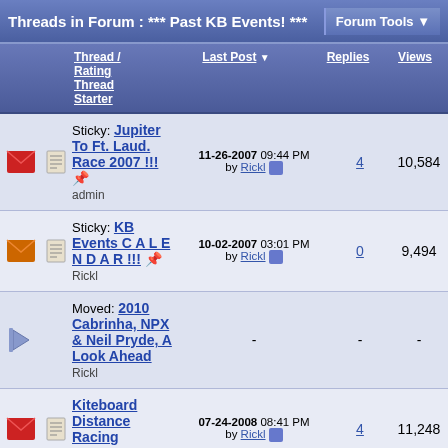Threads in Forum : *** Past KB Events! ***   Forum Tools
|  |  | Thread / Rating Thread Starter | Last Post | Replies | Views |
| --- | --- | --- | --- | --- | --- |
| [icon] | [icon] | Sticky: Jupiter To Ft. Laud. Race 2007 !!! admin | 11-26-2007 09:44 PM by Rickl | 4 | 10,584 |
| [icon] | [icon] | Sticky: KB Events C A L E N D A R !!! Rickl | 10-02-2007 03:01 PM by Rickl | 0 | 9,494 |
| [moved] |  | Moved: 2010 Cabrinha, NPX & Neil Pryde, A Look Ahead Rickl | - | - | - |
| [icon] | [icon] | Kiteboard Distance Racing latino ★★★★★ | 07-24-2008 08:41 PM by Rickl | 4 | 11,248 |
| [icon] | [icon] | 1st Undergroun Kiteboarding Contest at Ocean Park | 07-14-2008 10:36 PM by Chuelot | 0 | 9,143 |